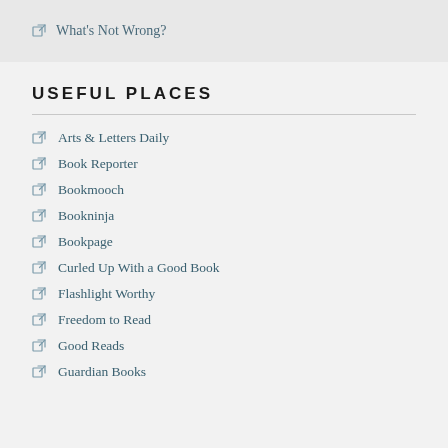What's Not Wrong?
USEFUL PLACES
Arts & Letters Daily
Book Reporter
Bookmooch
Bookninja
Bookpage
Curled Up With a Good Book
Flashlight Worthy
Freedom to Read
Good Reads
Guardian Books